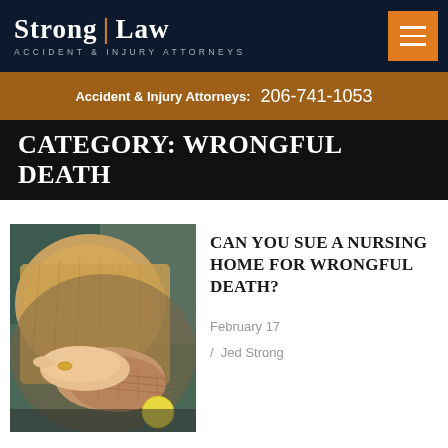Strong | Law — Accident & Injury Attorneys
Accident & Injury Attorneys: 206-741-1053
CATEGORY: WRONGFUL DEATH
[Figure (photo): Close-up photo of a caregiver's hand holding an elderly person's hand, with a yellow ball visible, warm sweater tones in background]
CAN YOU SUE A NURSING HOME FOR WRONGFUL DEATH?
February 17 / Jed Strong